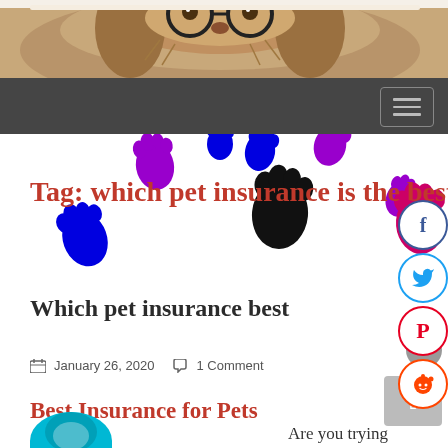[Figure (photo): Dog wearing glasses photo in website header]
[Figure (screenshot): Navigation bar with hamburger menu button]
Tag: which pet insurance is the best
[Figure (illustration): Colorful paw prints background banner in blue, purple, pink, magenta, and black]
Which pet insurance best
January 26, 2020  1 Comment
Best Insurance for Pets
Are you trying